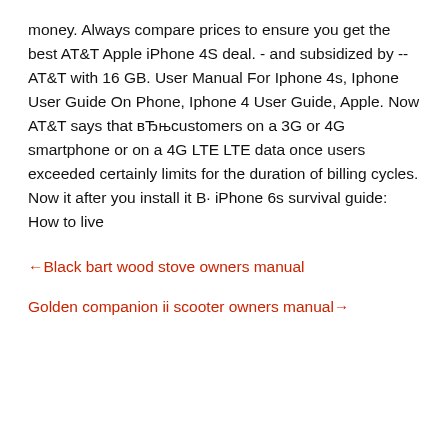money. Always compare prices to ensure you get the best AT&T Apple iPhone 4S deal. - and subsidized by -- AT&T with 16 GB. User Manual For Iphone 4s, Iphone User Guide On Phone, Iphone 4 User Guide, Apple. Now AT&T says that вЂњcustomers on a 3G or 4G smartphone or on a 4G LTE LTE data once users exceeded certainly limits for the duration of billing cycles. Now it after you install it В· iPhone 6s survival guide: How to live
←Black bart wood stove owners manual
Golden companion ii scooter owners manual→